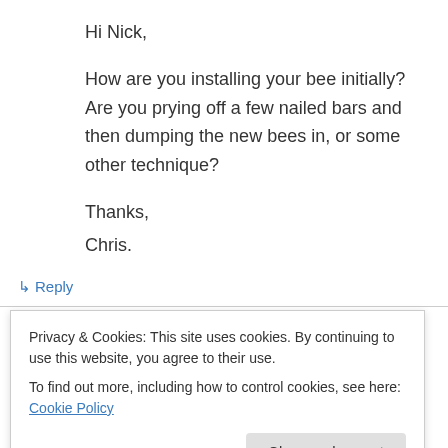Hi Nick,
How are you installing your bee initially? Are you prying off a few nailed bars and then dumping the new bees in, or some other technique?
Thanks,
Chris.
↳ Reply
Stewart Bell on May 8, 2011 at 8:12 am
Privacy & Cookies: This site uses cookies. By continuing to use this website, you agree to their use.
To find out more, including how to control cookies, see here: Cookie Policy
Close and accept
to survive? I too would also like to know how you